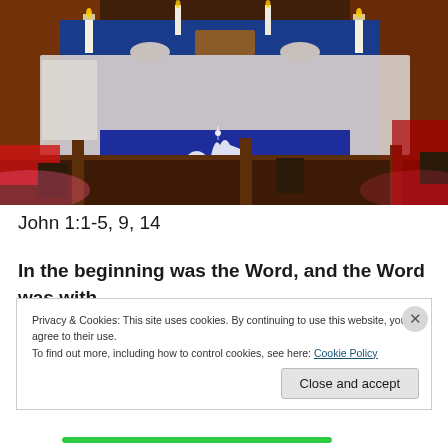[Figure (photo): Interior of a church sanctuary decorated for Christmas/Advent. The altar area features white lace cloths, candles on tall candlesticks, and a blue frontal cloth with a white Nativity silhouette scene. Wooden pews and railing are visible in the foreground. Red upholstered seats visible on the sides.]
John 1:1-5, 9, 14
In the beginning was the Word, and the Word was with
Privacy & Cookies: This site uses cookies. By continuing to use this website, you agree to their use.
To find out more, including how to control cookies, see here: Cookie Policy
Close and accept